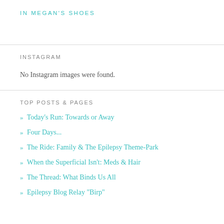IN MEGAN'S SHOES
INSTAGRAM
No Instagram images were found.
TOP POSTS & PAGES
» Today's Run: Towards or Away
» Four Days...
» The Ride: Family & The Epilepsy Theme-Park
» When the Superficial Isn't: Meds & Hair
» The Thread: What Binds Us All
» Epilepsy Blog Relay "Birp"